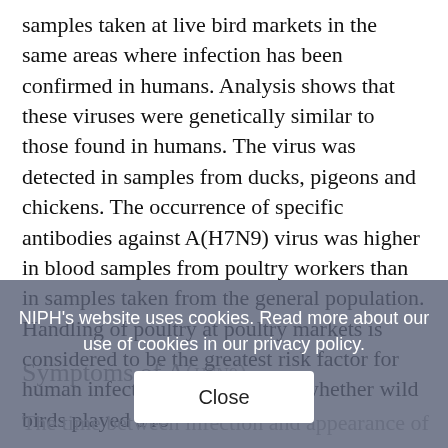samples taken at live bird markets in the same areas where infection has been confirmed in humans. Analysis shows that these viruses were genetically similar to those found in humans. The virus was detected in samples from ducks, pigeons and chickens. The occurrence of specific antibodies against A(H7N9) virus was higher in blood samples from poultry workers than in samples taken from the general population. Handling of poultry at poultry markets is considered to be the greatest risk factor for human infection. It is unknown whether wild birds played a ro[le]
NIPH's website uses cookies. Read more about our use of cookies in our privacy policy.
Close
Symptoms of A(H7N9)
The time between infection and appearance of